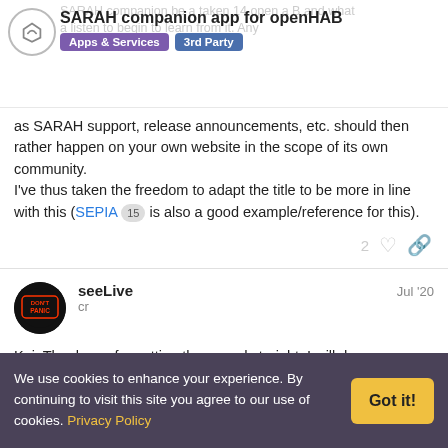SARAH companion app for openHAB | Apps & Services | 3rd Party
as SARAH support, release announcements, etc. should then rather happen on your own website in the scope of its own community.
I've thus taken the freedom to adapt the title to be more in line with this (SEPIA 15 is also a good example/reference for this).
seeLive
cr
Jul '20
Kai, Thank you for setting the record straight. I will do as you prescribe.
We use cookies to enhance your experience. By continuing to visit this site you agree to our use of cookies. Privacy Policy